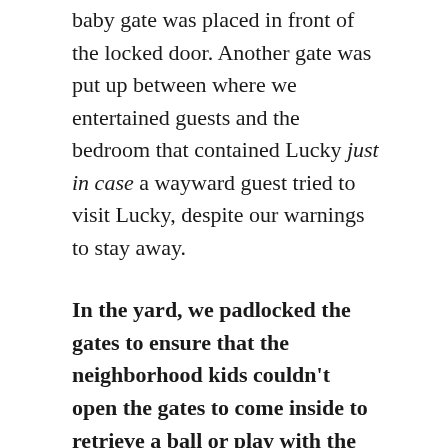baby gate was placed in front of the locked door. Another gate was put up between where we entertained guests and the bedroom that contained Lucky just in case a wayward guest tried to visit Lucky, despite our warnings to stay away.
In the yard, we padlocked the gates to ensure that the neighborhood kids couldn't open the gates to come inside to retrieve a ball or play with the friendly Labradors and the not-friendly Lucky. We educated the neighbors about Lucky and how they were to never (ever) put their hands inside the fence, nor were they to tease or even talk to Lucky over the fence. And never, ever, ever were they to come inside the fence. For any reason. Ever. Even